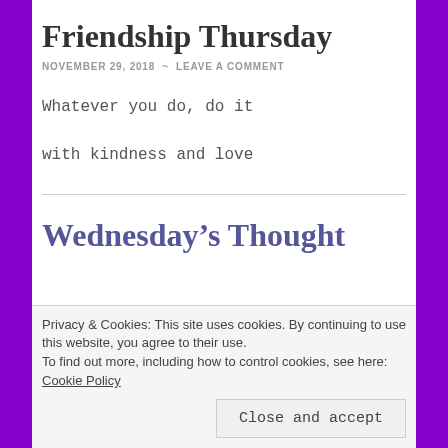Friendship Thursday
NOVEMBER 29, 2018 ~ LEAVE A COMMENT
Whatever you do, do it
with kindness and love
Wednesday's Thought
Privacy & Cookies: This site uses cookies. By continuing to use this website, you agree to their use.
To find out more, including how to control cookies, see here: Cookie Policy
Close and accept